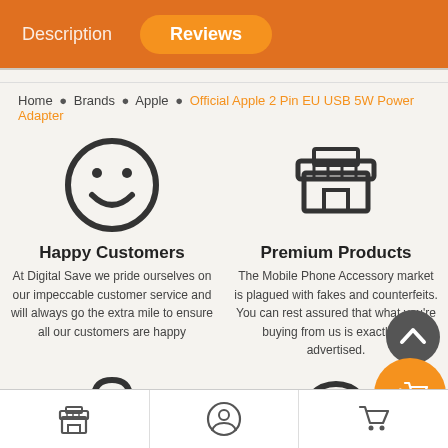Description  Reviews
Home • Brands • Apple • Official Apple 2 Pin EU USB 5W Power Adapter
[Figure (illustration): Smiley face circle icon]
Happy Customers
At Digital Save we pride ourselves on our impeccable customer service and will always go the extra mile to ensure all our customers are happy
[Figure (illustration): Shop/storefront icon]
Premium Products
The Mobile Phone Accessory market is plagued with fakes and counterfeits. You can rest assured that what you're buying from us is exactly as advertised.
[Figure (illustration): Padlock security icon]
[Figure (illustration): Dollar sign circle icon]
[Figure (illustration): Scroll up button (chevron up)]
[Figure (illustration): Add to cart orange button with cart icon]
Store icon | User/profile icon | Cart icon